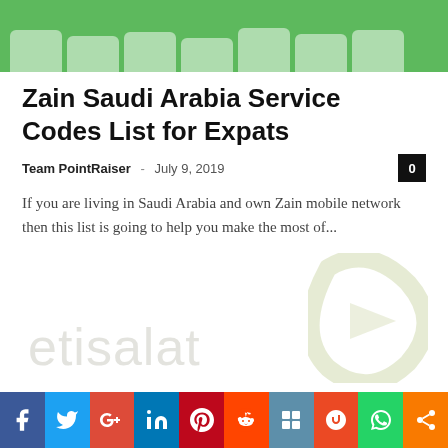[Figure (photo): Top banner image showing keyboard keys on a green background, partially cropped]
Zain Saudi Arabia Service Codes List for Expats
Team PointRaiser  -  July 9, 2019
If you are living in Saudi Arabia and own Zain mobile network then this list is going to help you make the most of...
[Figure (logo): Etisalat watermark logo with text 'etisalat' and a stylized play-button shape in light olive/yellow]
[Figure (infographic): Social sharing bar with icons: Facebook, Twitter, Google+, LinkedIn, Pinterest, Reddit, YouTube/share, StumbleUpon, WhatsApp, Share]